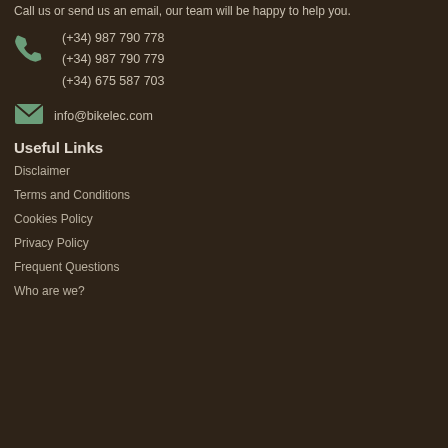Call us or send us an email, our team will be happy to help you.
(+34) 987 790 778
(+34) 987 790 779
(+34) 675 587 703
info@bikelec.com
Useful Links
Disclaimer
Terms and Conditions
Cookies Policy
Privacy Policy
Frequent Questions
Who are we?